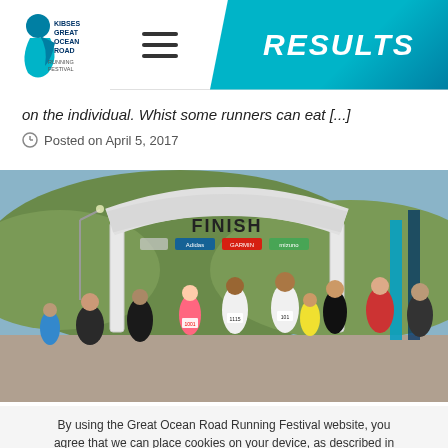RESULTS
on the individual. Whist some runners can eat [...]
Posted on April 5, 2017
[Figure (photo): Runners crossing the FINISH line arch at the Great Ocean Road Running Festival. A large inflatable white arch reads FINISH with sponsor logos. Many runners in race bibs are seen mid-stride with green hills in the background.]
By using the Great Ocean Road Running Festival website, you agree that we can place cookies on your device, as described in